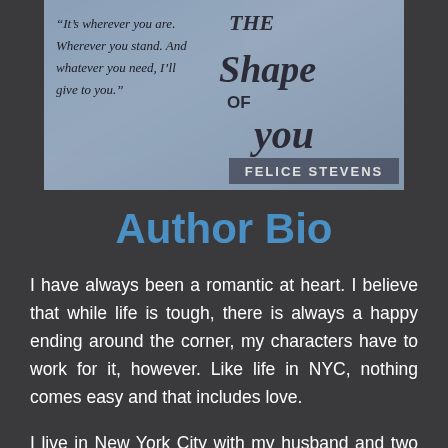[Figure (illustration): Book cover for 'The Shape of You' by Felice Stevens. Dark blue/grey textured background with a quote: "It's wherever you are. Wherever you stand. And whatever you need, I'll give to you." Title text 'The Shape of You' in large stylized font, 'FELICE STEVENS' at the bottom.]
Author Bio
I have always been a romantic at heart. I believe that while life is tough, there is always a happy ending around the corner, my characters have to work for it, however. Like life in NYC, nothing comes easy and that includes love.
I live in New York City with my husband and two children and have fallen...